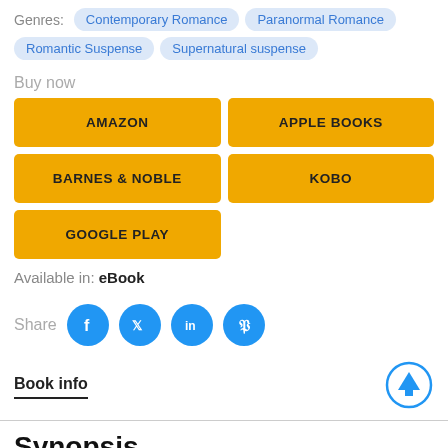Genres: Contemporary Romance  Paranormal Romance  Romantic Suspense  Supernatural suspense
Buy now
AMAZON
APPLE BOOKS
BARNES & NOBLE
KOBO
GOOGLE PLAY
Available in: eBook
Share
[Figure (infographic): Social share icons: Facebook, Twitter, LinkedIn, Pinterest]
Book info
Synopsis